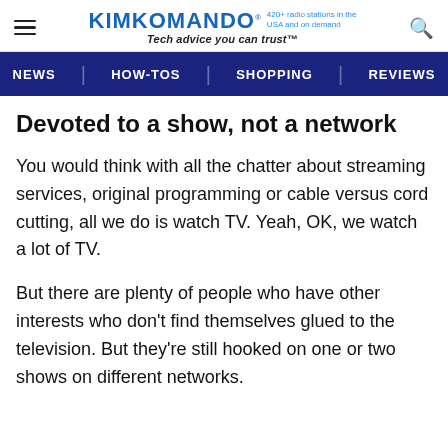KIMKOMANDO® 420+ radio stations in the USA and on demand
Tech advice you can trust™
NEWS | HOW-TOS | SHOPPING | REVIEWS
Devoted to a show, not a network
You would think with all the chatter about streaming services, original programming or cable versus cord cutting, all we do is watch TV. Yeah, OK, we watch a lot of TV.
But there are plenty of people who have other interests who don't find themselves glued to the television. But they're still hooked on one or two shows on different networks.